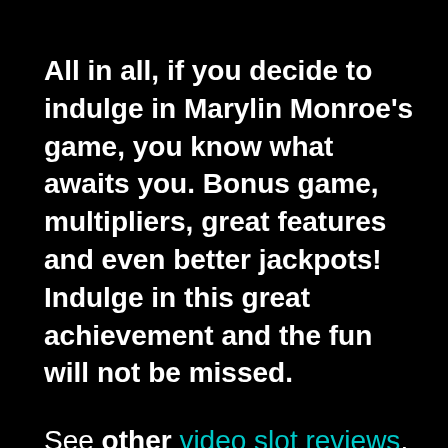All in all, if you decide to indulge in Marylin Monroe's game, you know what awaits you. Bonus game, multipliers, great features and even better jackpots! Indulge in this great achievement and the fun will not be missed.
See other video slot reviews.